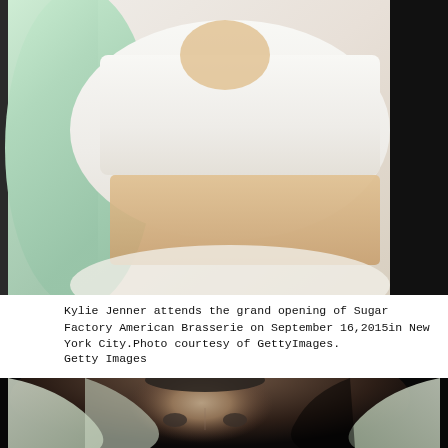[Figure (photo): Kylie Jenner wearing white crop top with long mint/green hair, dark background on right side, midriff visible]
Kylie Jenner attends the grand opening of Sugar Factory American Brasserie on September 16, 2015in New York City.Photo courtesy of Getty Images.
Getty Images
[Figure (photo): Kylie Jenner close-up portrait with light mint/silver hair against dark background]